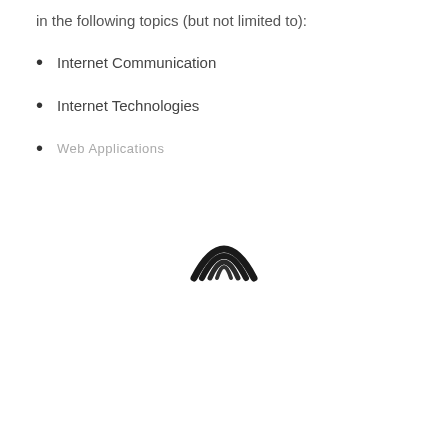in the following topics (but not limited to):
Internet Communication
Internet Technologies
Web Applications
[Figure (logo): Curved arc logo resembling stacked crescents or a stylized signal/wifi icon, rendered in dark/black tones]